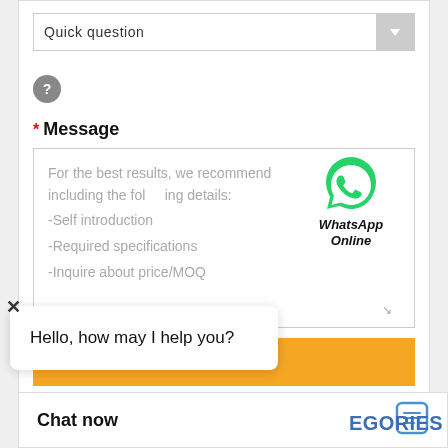[Figure (screenshot): Dropdown selector showing 'Quick question']
[Figure (screenshot): Gray circular question mark icon]
* Message
For the best results, we recommend including the following details:
-Self introduction
-Required specifications
-Inquire about price/MOQ
[Figure (logo): WhatsApp green phone icon with label 'WhatsApp Online']
[Figure (screenshot): Orange 'Send Now' button]
Hello, how may I help you?
Chat now
EGORIES